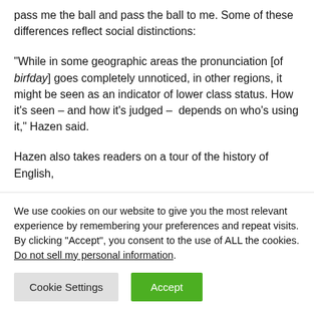pass me the ball and pass the ball to me. Some of these differences reflect social distinctions:
“While in some geographic areas the pronunciation [of birfday] goes completely unnoticed, in other regions, it might be seen as an indicator of lower class status. How it’s seen – and how it’s judged – depends on who’s using it,” Hazen said.
Hazen also takes readers on a tour of the history of English,
We use cookies on our website to give you the most relevant experience by remembering your preferences and repeat visits. By clicking “Accept”, you consent to the use of ALL the cookies. Do not sell my personal information.